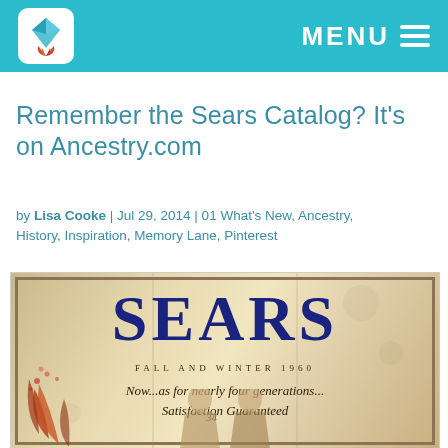MENU
Remember the Sears Catalog? It's on Ancestry.com
by Lisa Cooke | Jul 29, 2014 | 01 What's New, Ancestry, History, Inspiration, Memory Lane, Pinterest
[Figure (photo): Cover of Sears Fall and Winter 1960 catalog showing the large SEARS logo in dark blue, text 'FALL AND WINTER 1960', italic tagline 'Now...as for nearly four generations... Satisfaction Guaranteed', handwritten number '34', autumn leaf decorations on left side, and partial view of women figures at bottom.]